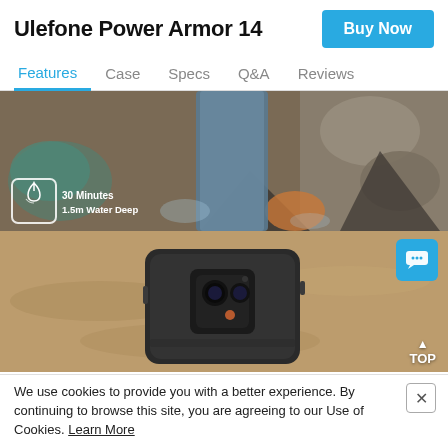Ulefone Power Armor 14
Buy Now
Features  Case  Specs  Q&A  Reviews
[Figure (photo): Rugged smartphone submerged or placed on wet rocks near water, with waterproof badge overlay showing '30 Minutes 1.5m Water Deep']
[Figure (photo): Aerial/top-down view of rugged smartphone with camera module visible, lying on sandy/dirt ground]
We use cookies to provide you with a better experience. By continuing to browse this site, you are agreeing to our Use of Cookies. Learn More